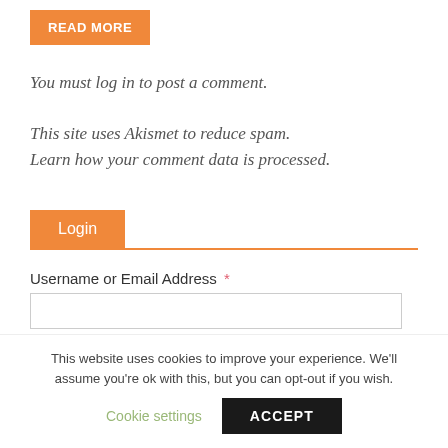READ MORE
You must log in to post a comment.
This site uses Akismet to reduce spam. Learn how your comment data is processed.
Login
Username or Email Address *
This website uses cookies to improve your experience. We'll assume you're ok with this, but you can opt-out if you wish.
Cookie settings
ACCEPT